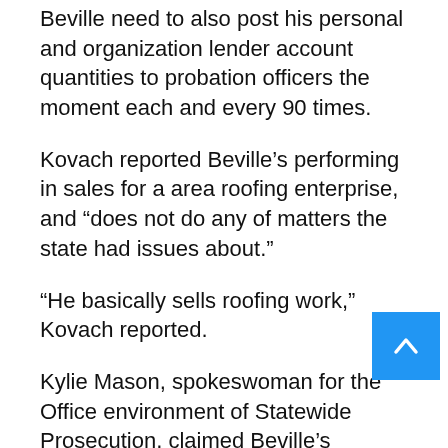Beville need to also post his personal and organization lender account quantities to probation officers the moment each and every 90 times.
Kovach reported Beville’s performing in sales for a area roofing enterprise, and “does not do any of matters the state had issues about.”
“He basically sells roofing work,” Kovach reported.
Kylie Mason, spokeswoman for the Office environment of Statewide Prosecution, claimed Beville’s sentence “was pursuant to the sentencing guidelines” the office “must use in all felony criminal scenarios as promulgated by the Florida Legislature.”
“The Office environment of Statewide Prosecution